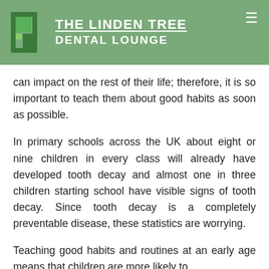THE LINDEN TREE DENTAL LOUNGE
can impact on the rest of their life; therefore, it is so important to teach them about good habits as soon as possible.
In primary schools across the UK about eight or nine children in every class will already have developed tooth decay and almost one in three children starting school have visible signs of tooth decay. Since tooth decay is a completely preventable disease, these statistics are worrying.
Teaching good habits and routines at an early age means that children are more likely to